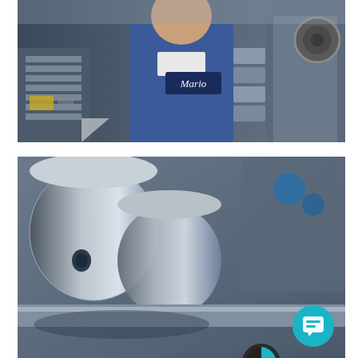[Figure (photo): A worker named Mario in a blue uniform operating industrial metal machinery, with metallic cylindrical components visible in a manufacturing facility.]
[Figure (photo): Close-up of metal cylindrical components and precision machined parts on industrial equipment, with a chat widget overlay showing 'Welcome to Natech Plastics! I'm here to help.' and a teal chat button in the lower right.]